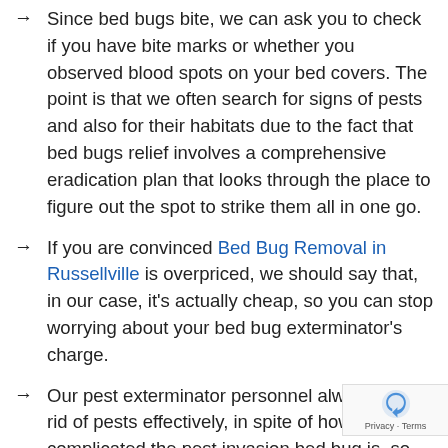Since bed bugs bite, we can ask you to check if you have bite marks or whether you observed blood spots on your bed covers. The point is that we often search for signs of pests and also for their habitats due to the fact that bed bugs relief involves a comprehensive eradication plan that looks through the place to figure out the spot to strike them all in one go.
If you are convinced Bed Bug Removal in Russellville is overpriced, we should say that, in our case, it's actually cheap, so you can stop worrying about your bed bug exterminator's charge.
Our pest exterminator personnel always gets rid of pests effectively, in spite of how complicated the pest invasion bed bug is, so you can feel reassured with the service we deliver.